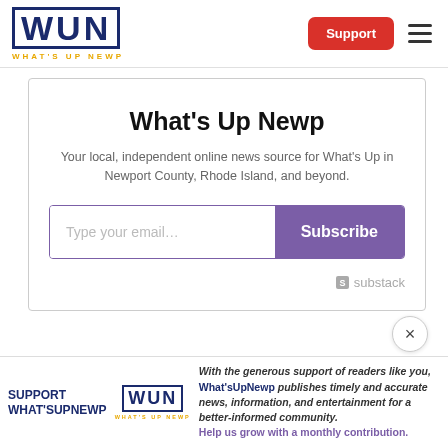[Figure (logo): WUN What's Up Newp logo in dark blue with yellow subtitle text]
Support
What's Up Newp
Your local, independent online news source for What's Up in Newport County, Rhode Island, and beyond.
Type your email...
Subscribe
substack
×
SUPPORT WHAT'SUPNEWP
[Figure (logo): WUN What's Up Newp small logo]
With the generous support of readers like you, What'sUpNewp publishes timely and accurate news, information, and entertainment for a better-informed community. Help us grow with a monthly contribution.